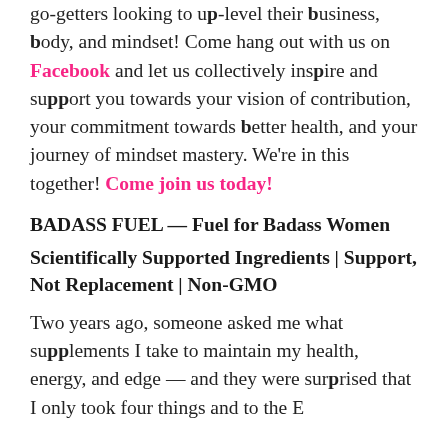go-getters looking to up-level their business, body, and mindset! Come hang out with us on Facebook and let us collectively inspire and support you towards your vision of contribution, your commitment towards better health, and your journey of mindset mastery. We're in this together! Come join us today!
BADASS FUEL — Fuel for Badass Women
Scientifically Supported Ingredients | Support, Not Replacement | Non-GMO
Two years ago, someone asked me what supplements I take to maintain my health, energy, and edge — and they were surprised that I only took four things and to...